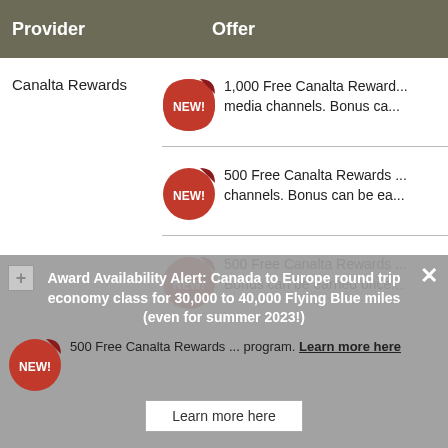| Provider | Offer |
| --- | --- |
| Canalta Rewards | 1,000 Free Canalta Reward... media channels. Bonus ca... |
|  | 500 Free Canalta Rewards ... channels. Bonus can be ea... |
|  | 500 Free Canalta Rewards ... Bonus can be earned once... |
|  | 500 Free Canalta Rewards ... program. Learn more here |
Award Availability Alert: Canada to Europe round trip economy class for 30,000 to 40,000 Flying Blue miles (even for summer 2023!)
500 Free Canalta Rewards ... program. Learn more here
Learn more here